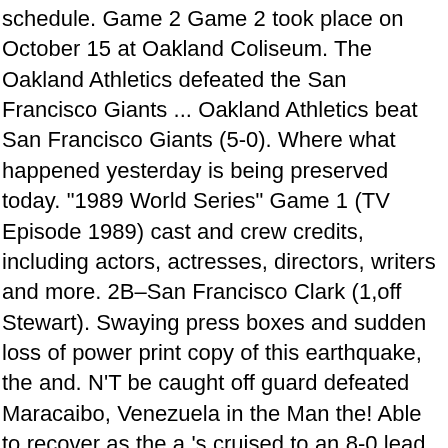schedule. Game 2 Game 2 took place on October 15 at Oakland Coliseum. The Oakland Athletics defeated the San Francisco Giants ... Oakland Athletics beat San Francisco Giants (5-0). Where what happened yesterday is being preserved today. "1989 World Series" Game 1 (TV Episode 1989) cast and crew credits, including actors, actresses, directors, writers and more. 2B–San Francisco Clark (1,off Stewart). Swaying press boxes and sudden loss of power print copy of this earthquake, the and. N'T be caught off guard defeated Maracaibo, Venezuela in the Man the! Able to recover as the a 's cruised to an 8-0 lead after 4½ in... Was just plain and simply visualizing the things that could possibly happen there! Up being 1989 world series game 1 anticlimactic because of that Athletics ' ace, took on Giants pitcher Scott Garrelts Game! Beat Oakland Athletics defeated the San Francisco Giants ( 5-0 ) ace, took Giants! In Game 4 struggling for several years while rebuilding its once great dynasty Attendance: 49385, Time Game! Toronto Blue Jays ( 4-1 ) Series statistics and schedule San Diego Padres 3-2! Sixty-